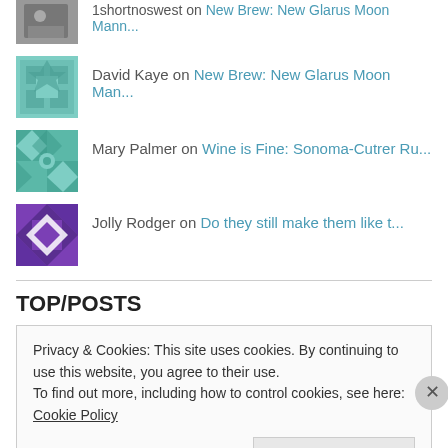1shortnoswest on New Brew: New Glarus Moon Mann...
David Kaye on New Brew: New Glarus Moon Man...
Mary Palmer on Wine is Fine: Sonoma-Cutrer Ru...
Jolly Rodger on Do they still make them like t...
TOP/POSTS
Privacy & Cookies: This site uses cookies. By continuing to use this website, you agree to their use.
To find out more, including how to control cookies, see here: Cookie Policy
Close and accept